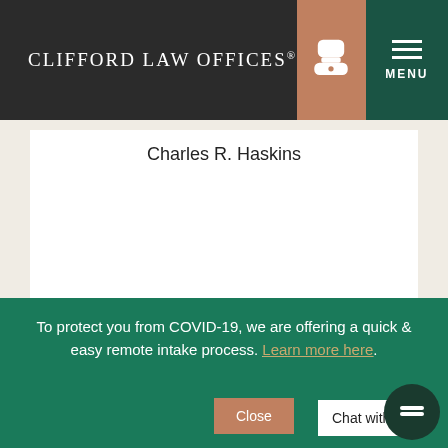CLIFFORD LAW OFFICES®
Charles R. Haskins
To protect you from COVID-19, we are offering a quick & easy remote intake process. Learn more here.
Close
Chat with us